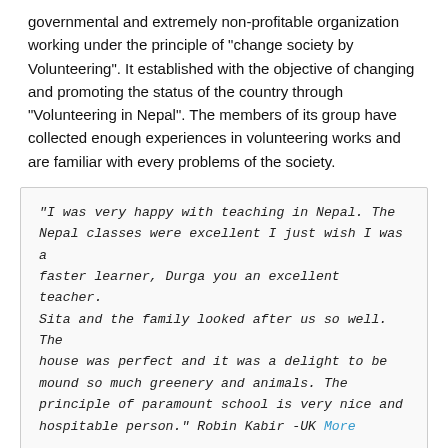governmental and extremely non-profitable organization working under the principle of "change society by Volunteering". It established with the objective of changing and promoting the status of the country through "Volunteering in Nepal". The members of its group have collected enough experiences in volunteering works and are familiar with every problems of the society.
"I was very happy with teaching in Nepal. The Nepal classes were excellent I just wish I was a faster learner, Durga you an excellent teacher. Sita and the family looked after us so well. The house was perfect and it was a delight to be mound so much greenery and animals. The principle of paramount school is very nice and hospitable person." Robin Kabir -UK More
"Thank you so much for everything!! I had a wonderful time in Nepal visiting Kathmandu, volunteering at Clinic Nepal in Meghauli-Chitwan and trekking. I felt so welcome here, and I am grateful for all of your help organizing my first visit to Nepal. I hope to